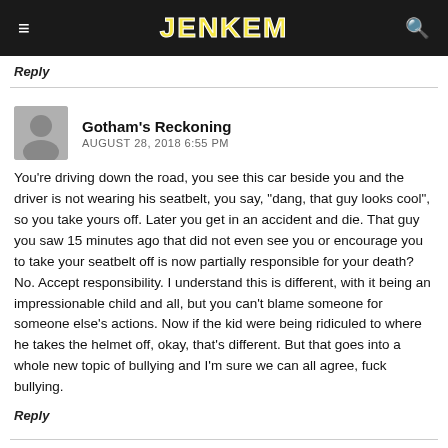JENKEM
Reply
Gotham's Reckoning
AUGUST 28, 2018 6:55 PM
You're driving down the road, you see this car beside you and the driver is not wearing his seatbelt, you say, "dang, that guy looks cool", so you take yours off. Later you get in an accident and die. That guy you saw 15 minutes ago that did not even see you or encourage you to take your seatbelt off is now partially responsible for your death? No. Accept responsibility. I understand this is different, with it being an impressionable child and all, but you can't blame someone for someone else's actions. Now if the kid were being ridiculed to where he takes the helmet off, okay, that's different. But that goes into a whole new topic of bullying and I'm sure we can all agree, fuck bullying.
Reply
Intrigued Reader
AUGUST 28, 2018 3:47 PM